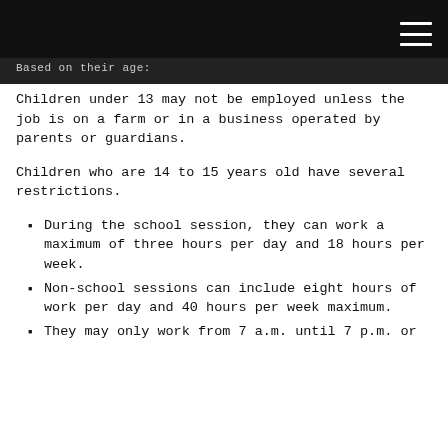Based on their age:
Children under 13 may not be employed unless the job is on a farm or in a business operated by parents or guardians.
Children who are 14 to 15 years old have several restrictions.
During the school session, they can work a maximum of three hours per day and 18 hours per week.
Non-school sessions can include eight hours of work per day and 40 hours per week maximum.
They may only work from 7 a.m. until 7 p.m. or